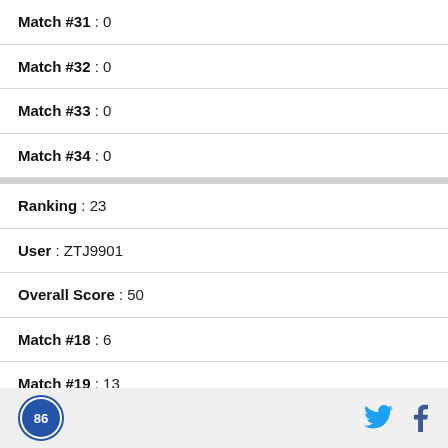Match #31 : 0
Match #32 : 0
Match #33 : 0
Match #34 : 0
Ranking : 23
User : ZTJ9901
Overall Score : 50
Match #18 : 6
Match #19 : 13
Match #20 : 0
Match #21 : 17
Logo | Twitter | Facebook